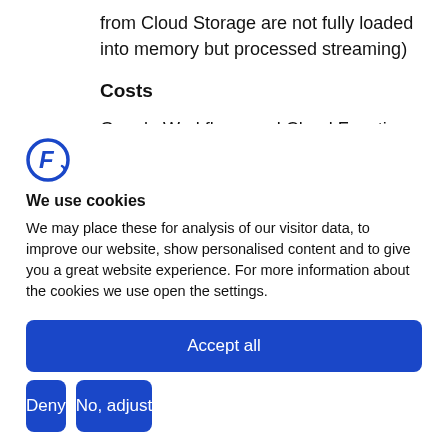from Cloud Storage are not fully loaded into memory but processed streaming)
Costs
Google Workflows and Cloud Functions are serverless.
[Figure (logo): Blue circular logo with stylized F letter]
We use cookies
We may place these for analysis of our visitor data, to improve our website, show personalised content and to give you a great website experience. For more information about the cookies we use open the settings.
Accept all
Deny
No, adjust